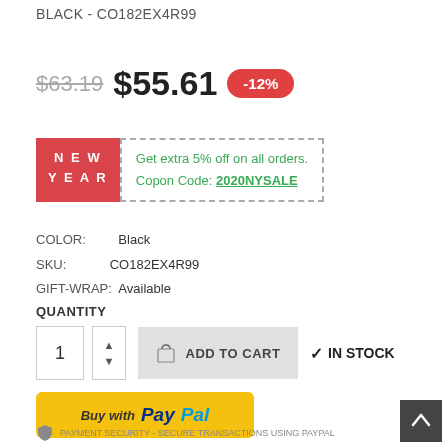BLACK - CO182EX4R99
$63.19  $55.61  -12%
NEW YEAR  Get extra 5% off on all orders. Coupon Code: 2020NYSALE
COLOR: Black
SKU: CO182EX4R99
GIFT-WRAP: Available
QUANTITY
1  ADD TO CART  ✓ IN STOCK
[Figure (other): Buy with PayPal button - yellow rounded rectangle with PayPal logo]
PAYMENT SECURITY - SECURE TRANSACTIONS USING PAYPAL